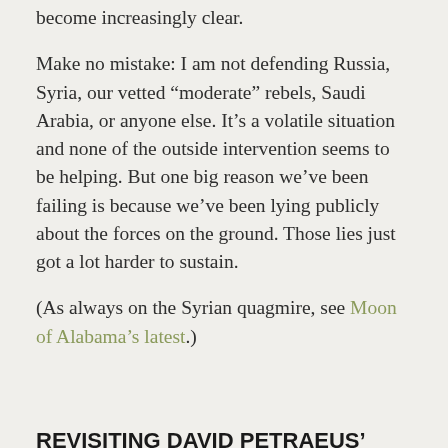become increasingly clear.
Make no mistake: I am not defending Russia, Syria, our vetted “moderate” rebels, Saudi Arabia, or anyone else. It’s a volatile situation and none of the outside intervention seems to be helping. But one big reason we’ve been failing is because we’ve been lying publicly about the forces on the ground. Those lies just got a lot harder to sustain.
(As always on the Syrian quagmire, see Moon of Alabama’s latest.)
REVISITING DAVID PETRAEUS’ CRACK PLAN TO ALLY WITH AL QAEDA
September 18, 2015 / 22 Comments / in Benghazi Attack / by